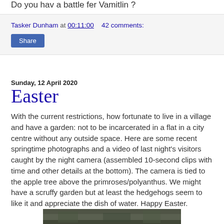Do you hav a battle fer Vamitlin ?
Tasker Dunham at 00:11:00   42 comments:
Share
Sunday, 12 April 2020
Easter
With the current restrictions, how fortunate to live in a village and have a garden: not to be incarcerated in a flat in a city centre without any outside space. Here are some recent springtime photographs and a video of last night's visitors caught by the night camera (assembled 10-second clips with time and other details at the bottom). The camera is tied to the apple tree above the primroses/polyanthus. We might have a scruffy garden but at least the hedgehogs seem to like it and appreciate the dish of water. Happy Easter.
[Figure (photo): A photograph visible at the bottom of the page, partially cropped, appearing to show a garden scene at night.]